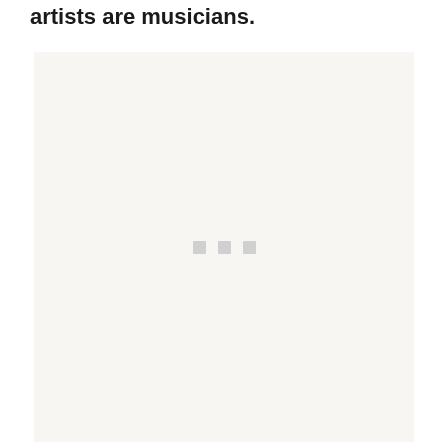artists are musicians.
[Figure (other): Loading placeholder box with three small grey squares centered in a light beige/off-white rectangle]